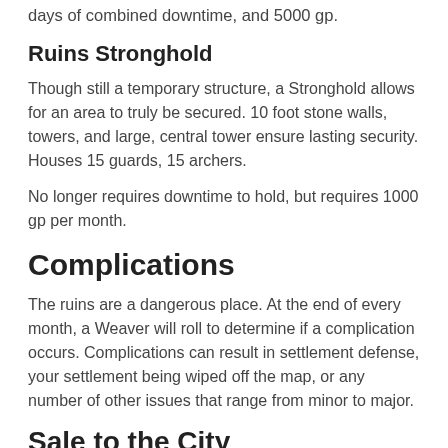days of combined downtime, and 5000 gp.
Ruins Stronghold
Though still a temporary structure, a Stronghold allows for an area to truly be secured. 10 foot stone walls, towers, and large, central tower ensure lasting security. Houses 15 guards, 15 archers.
No longer requires downtime to hold, but requires 1000 gp per month.
Complications
The ruins are a dangerous place. At the end of every month, a Weaver will roll to determine if a complication occurs. Complications can result in settlement defense, your settlement being wiped off the map, or any number of other issues that range from minor to major.
Sale to the City